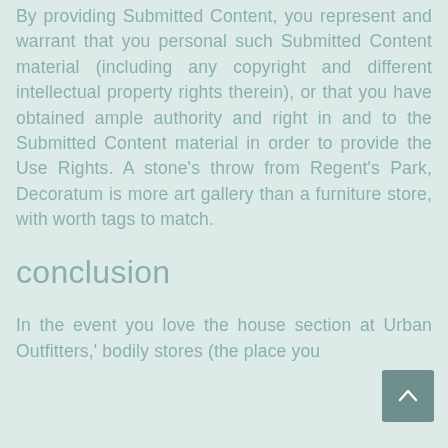By providing Submitted Content, you represent and warrant that you personal such Submitted Content material (including any copyright and different intellectual property rights therein), or that you have obtained ample authority and right in and to the Submitted Content material in order to provide the Use Rights. A stone's throw from Regent's Park, Decoratum is more art gallery than a furniture store, with worth tags to match.
conclusion
In the event you love the house section at Urban Outfitters,' bodily stores (the place you